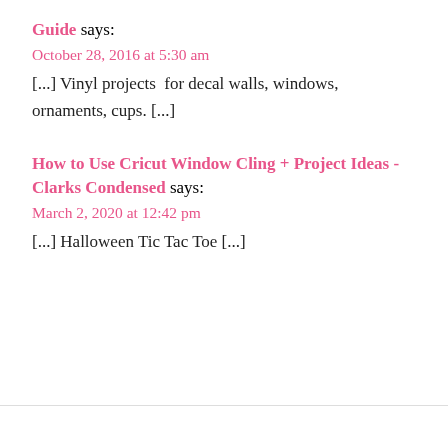Guide says:
October 28, 2016 at 5:30 am
[...] Vinyl projects  for decal walls, windows, ornaments, cups. [...]
How to Use Cricut Window Cling + Project Ideas - Clarks Condensed says:
March 2, 2020 at 12:42 pm
[...] Halloween Tic Tac Toe [...]